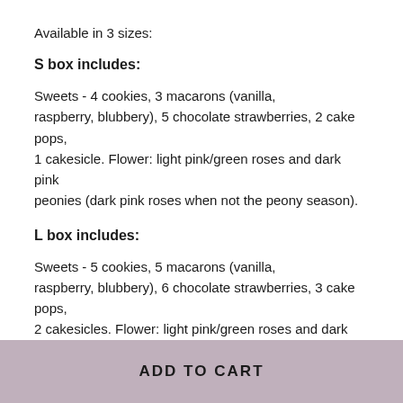Available in 3 sizes:
S box includes:
Sweets - 4 cookies, 3 macarons (vanilla, raspberry, blubbery), 5 chocolate strawberries, 2 cake pops, 1 cakesicle. Flower: light pink/green roses and dark pink peonies (dark pink roses when not the peony season).
L box includes:
Sweets - 5 cookies, 5 macarons (vanilla, raspberry, blubbery), 6 chocolate strawberries, 3 cake pops, 2 cakesicles. Flower: light pink/green roses and dark pink peonies (dark pink roses when not the peony season).
XL box includes:
ADD TO CART